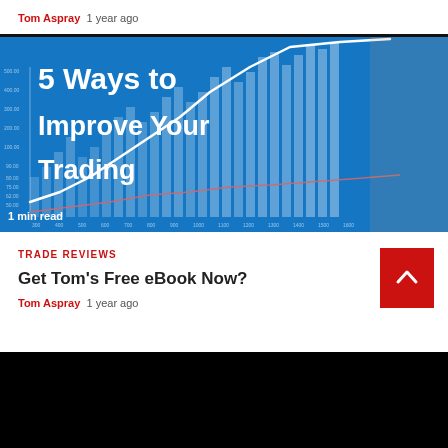Tom Aspray  1 year ago
[Figure (illustration): Promotional image with text '5 Ways to Improve Your Trading' overlaid on a blue financial chart background with a hand drawing an upward trend line. Shows '1 min read' at bottom left.]
TRADE REVIEWS
Get Tom's Free eBook Now?
Tom Aspray  1 year ago